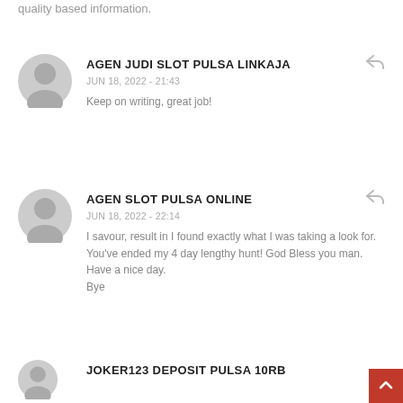quality based information.
AGEN JUDI SLOT PULSA LINKAJA
JUN 18, 2022 - 21:43
Keep on writing, great job!
AGEN SLOT PULSA ONLINE
JUN 18, 2022 - 22:14
I savour, result in I found exactly what I was taking a look for.
You've ended my 4 day lengthy hunt! God Bless you man. Have a nice day.
Bye
JOKER123 DEPOSIT PULSA 10RB